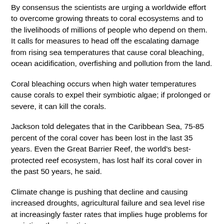By consensus the scientists are urging a worldwide effort to overcome growing threats to coral ecosystems and to the livelihoods of millions of people who depend on them. It calls for measures to head off the escalating damage from rising sea temperatures that cause coral bleaching, ocean acidification, overfishing and pollution from the land.
Coral bleaching occurs when high water temperatures cause corals to expel their symbiotic algae; if prolonged or severe, it can kill the corals.
Jackson told delegates that in the Caribbean Sea, 75-85 percent of the coral cover has been lost in the last 35 years. Even the Great Barrier Reef, the world's best-protected reef ecosystem, has lost half its coral cover in the past 50 years, he said.
Climate change is pushing that decline and causing increased droughts, agricultural failure and sea level rise at increasingly faster rates that implies huge problems for societies, the scientists warn.